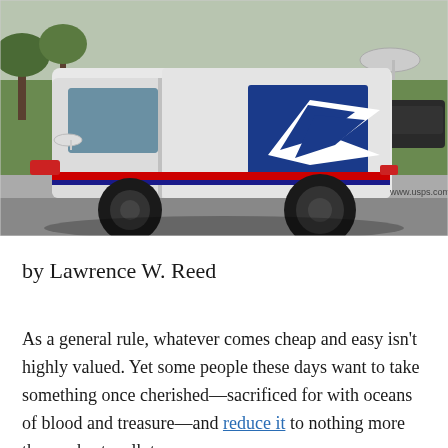[Figure (photo): A white USPS mail delivery truck parked on a suburban street. The truck features the blue USPS eagle logo on the side panel and the red and blue stripe along the body. The website www.usps.com is visible on the truck. A satellite dish is mounted on the front left. Green lawn and trees visible in the background.]
by Lawrence W. Reed
As a general rule, whatever comes cheap and easy isn't highly valued. Yet some people these days want to take something once cherished—sacrificed for with oceans of blood and treasure—and reduce it to nothing more than a short walk to